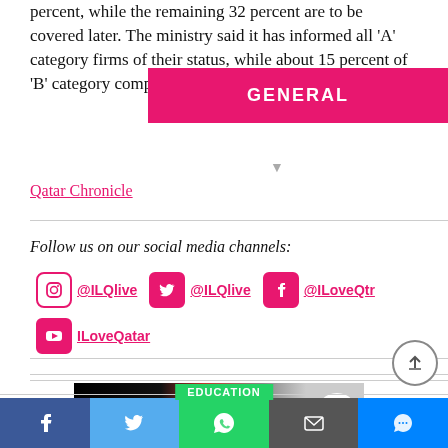percent, while the remaining 32 percent are to be covered later. The ministry said it has informed all 'A' category firms of their status, while about 15 percent of 'B' category comp…
[Figure (infographic): Pink banner with text GENERAL]
Qatar Chronicle
Follow us on our social media channels:
@ILQlive  @ILQlive  @ILoveQtr  ILoveQatar
[Figure (photo): Evolution Sports Qatar advertisement banner showing athletes with text JOIN THE EVOLUTION, SPORTS, HEALTH, WELLNESS]
EDUCATION | Facebook | Twitter | WhatsApp | Mail | Messenger